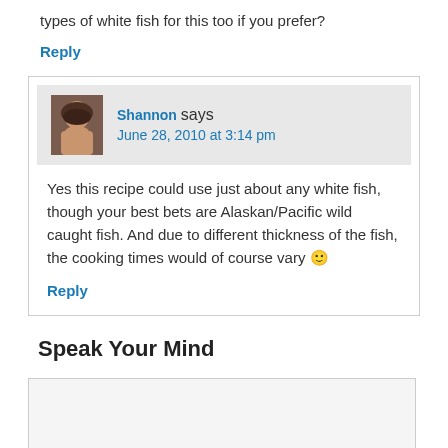types of white fish for this too if you prefer?
Reply
Shannon says
June 28, 2010 at 3:14 pm
Yes this recipe could use just about any white fish, though your best bets are Alaskan/Pacific wild caught fish. And due to different thickness of the fish, the cooking times would of course vary 🙂
Reply
Speak Your Mind